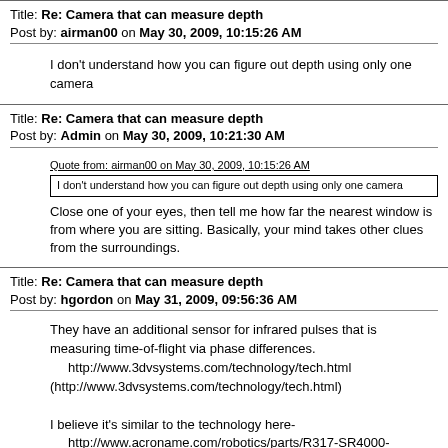Title: Re: Camera that can measure depth
Post by: airman00 on May 30, 2009, 10:15:26 AM
I don't understand how you can figure out depth using only one camera
Title: Re: Camera that can measure depth
Post by: Admin on May 30, 2009, 10:21:30 AM
Quote from: airman00 on May 30, 2009, 10:15:26 AM
I don't understand how you can figure out depth using only one camera
Close one of your eyes, then tell me how far the nearest window is from where you are sitting. Basically, your mind takes other clues from the surroundings.
Title: Re: Camera that can measure depth
Post by: hgordon on May 31, 2009, 09:56:36 AM
They have an additional sensor for infrared pulses that is measuring time-of-flight via phase differences.
    http://www.3dvsystems.com/technology/tech.html (http://www.3dvsystems.com/technology/tech.html)

I believe it's similar to the technology here-
    http://www.acroname.com/robotics/parts/R317-SR4000-CW.html (http://www.acroname.com/robotics/parts/R317-SR4000-CW.html)